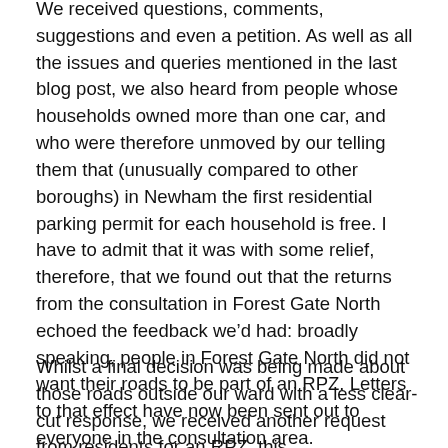We received questions, comments, suggestions and even a petition. As well as all the issues and queries mentioned in the last blog post, we also heard from people whose households owned more than one car, and who were therefore unmoved by our telling them that (unusually compared to other boroughs) in Newham the first residential parking permit for each household is free. I have to admit that it was with some relief, therefore, that we found out that the returns from the consultation in Forest Gate North echoed the feedback we'd had: broadly speaking, people in Forest Gate North did not want their roads to be part of an RPZ. Letters to that effect have now been sent out to everyone in the consultation area.
Whilst a final decision was being made about those roads outside our ward with a less clear-cut response, we received another request from residents for an RPZ, this